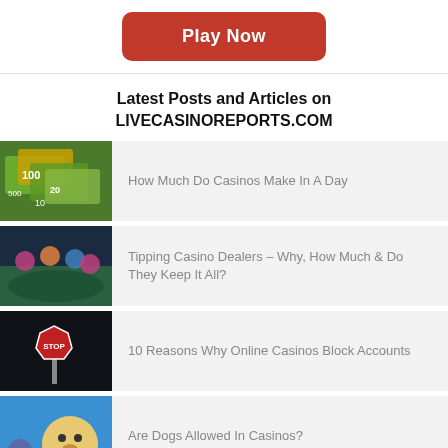[Figure (other): Red 'Play Now' button]
Latest Posts and Articles on LIVECASINOREPORTS.COM
How Much Do Casinos Make In A Day
Tipping Casino Dealers – Why, How Much & Do They Keep It All?
10 Reasons Why Online Casinos Block Accounts
Are Dogs Allowed In Casinos?